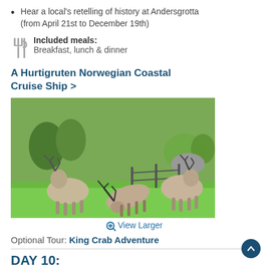Hear a local's retelling of history at Andersgrotta (from April 21st to December 19th)
Included meals: Breakfast, lunch & dinner
A Hurtigruten Norwegian Coastal Cruise Ship >
[Figure (photo): Three reindeer grazing on a green lawn with trees and rocks in the background]
View Larger
Optional Tour: King Crab Adventure
DAY 10:
Discover the towns of Hammerfest and Skjervøy